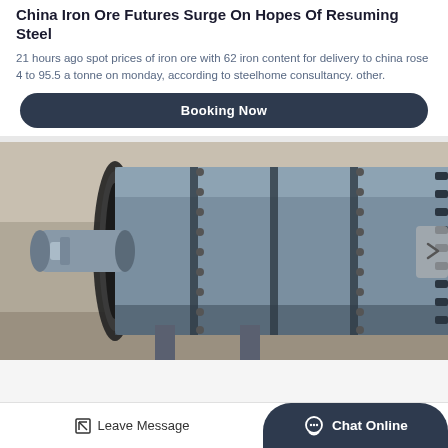China Iron Ore Futures Surge On Hopes Of Resuming Steel
21 hours ago spot prices of iron ore with 62 iron content for delivery to china rose 4 to 95.5 a tonne on monday, according to steelhome consultancy. other.
Booking Now
[Figure (photo): Industrial equipment — a large cylindrical rotary drum/kiln/ball mill machine in a workshop or industrial facility. The machine is metallic grey/blue with bolted sections, a large circular end flange, and extends horizontally to the right.]
Leave Message
Chat Online